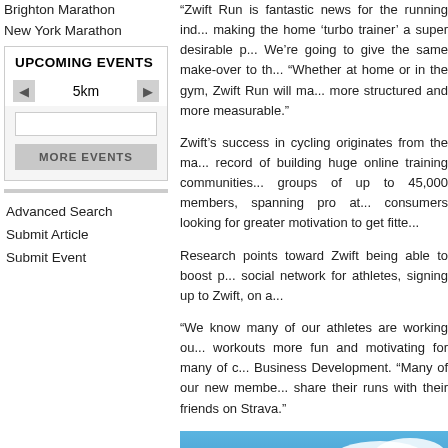Brighton Marathon
New York Marathon
UPCOMING EVENTS
5km
MORE EVENTS
Advanced Search
Submit Article
Submit Event
“Zwift Run is fantastic news for the running ind... making the home ‘turbo trainer’ a super desirable p... We’re going to give the same make-over to th... “Whether at home or in the gym, Zwift Run will ma... more structured and more measurable.”
Zwift’s success in cycling originates from the ma... record of building huge online training communities... groups of up to 45,000 members, spanning pro at... consumers looking for greater motivation to get fitte...
Research points toward Zwift being able to boost p... social network for athletes, signing up to Zwift, on a...
“We know many of our athletes are working ou... workouts more fun and motivating for many of c... Business Development. “Many of our new membe... share their runs with their friends on Strava.”
[Figure (photo): Photo of runners outdoors under a blue sky with white clouds]